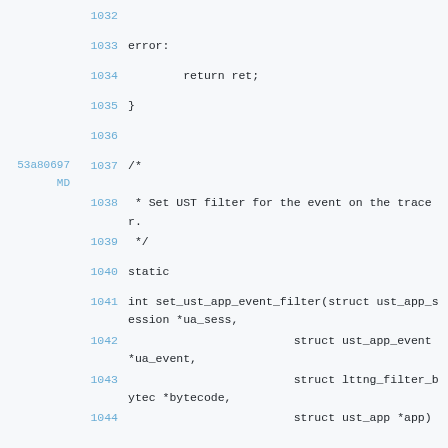1032
1033 error:
1034         return ret;
1035 }
1036
53a80697 MD 1037 /*
1038  * Set UST filter for the event on the tracer.
1039  */
1040 static
1041 int set_ust_app_event_filter(struct ust_app_session *ua_sess,
1042                         struct ust_app_event *ua_event,
1043                         struct lttng_filter_bytec *bytecode,
1044                         struct ust_app *app)